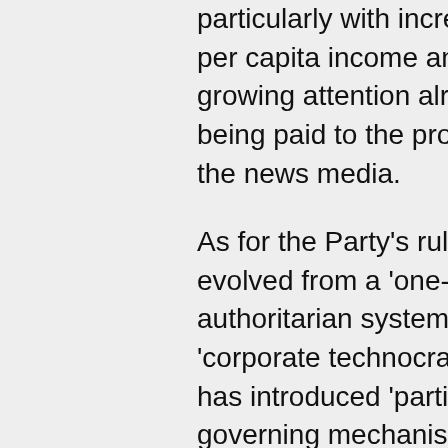particularly with increases in per capita income and the growing attention already being paid to the problem in the news media.
As for the Party's rule, it has evolved from a 'one-man authoritarian system' to a 'corporate technocracy' that has introduced 'participatory governing mechanisms' that may lead to a 'more broad-based system of elections' -- a transition similar to those of South Korea and Taiwan.
While China's GDP will surpass that of the U.S. by 2035, its per capita GDP will likely draw even